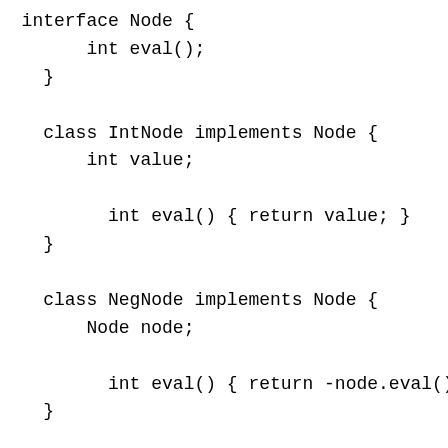interface Node {
      int eval();
  }

  class IntNode implements Node {
      int value;

        int eval() { return value; }
  }

  class NegNode implements Node {
      Node node;

        int eval() { return -node.eval(); }
  }

  class MulNode implements Node {
      Node left, right;